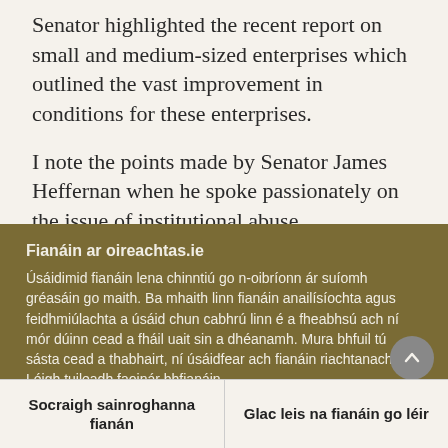Senator highlighted the recent report on small and medium-sized enterprises which outlined the vast improvement in conditions for these enterprises.
I note the points made by Senator James Heffernan when he spoke passionately on the issue of institutional abuse.
Senator Denis Landy referred to the response from the Irish Water helpline to public representatives. He
Fianáin ar oireachtas.ie
Úsáidimid fianáin lena chinntiú go n-oibríonn ár suíomh gréasáin go maith. Ba mhaith linn fianáin anailísíochta agus feidhmiúlachta a úsáid chun cabhrú linn é a fheabhsú ach ní mór dúinn cead a fháil uait sin a dhéanamh. Mura bhfuil tú sásta cead a thabhairt, ní úsáidfear ach fianáin riachtanacha. Léigh tuileadh faoinár bhfianáin
Socraigh sainroghanna fianán
Glac leis na fianáin go léir